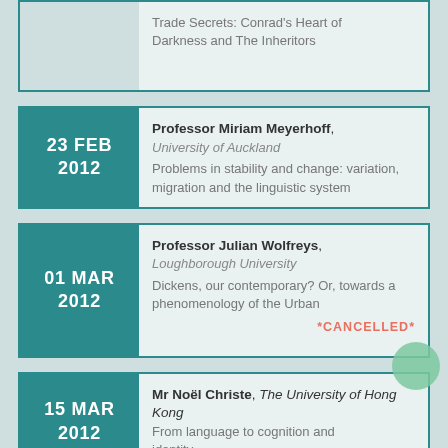Trade Secrets: Conrad's Heart of Darkness and The Inheritors
23 FEB 2012 | Professor Miriam Meyerhoff, University of Auckland — Problems in stability and change: variation, migration and the linguistic system
01 MAR 2012 | Professor Julian Wolfreys, Loughborough University — Dickens, our contemporary? Or, towards a phenomenology of the Urban — *CANCELLED*
15 MAR 2012 | Mr Noël Christe, The University of Hong Kong — From language to cognition and identity...